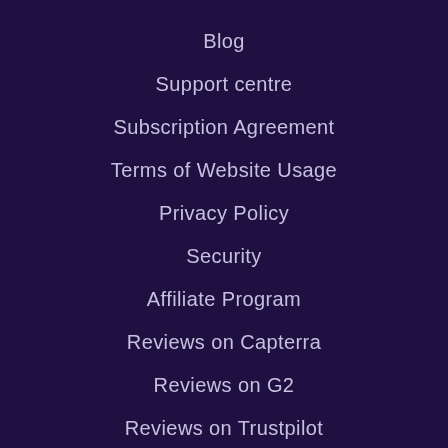Blog
Support centre
Subscription Agreement
Terms of Website Usage
Privacy Policy
Security
Affiliate Program
Reviews on Capterra
Reviews on G2
Reviews on Trustpilot